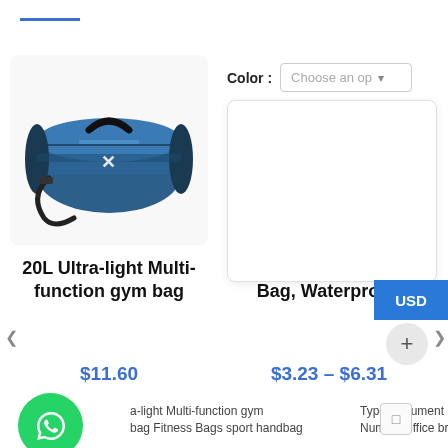[Figure (photo): Blue 20L ultra-light multi-function gym bag / duffel bag with shoulder strap and handle]
Color :
Choose an op ▾
[Figure (photo): Three A4 canvas document bags in black, gray, and blue colors]
USD
20L Ultra-light Multi-function gym bag
A4 Canvas Document Bag, Waterproof
$11.60
$3.23 – $6.31
a-light Multi-function gym bag Fitness Bags sport handbag
Type:Document Bag Mode Number:office briefcase Size:A4